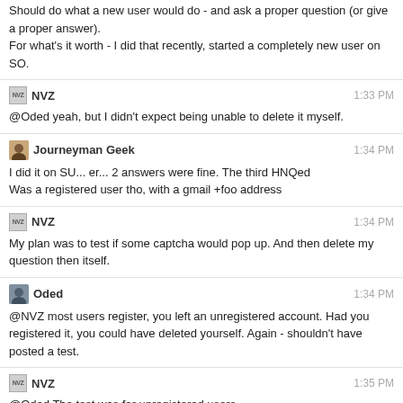Should do what a new user would do - and ask a proper question (or give a proper answer).
For what's it worth - I did that recently, started a completely new user on SO.
NVZ 1:33 PM
@Oded yeah, but I didn't expect being unable to delete it myself.
Journeyman Geek 1:34 PM
I did it on SU... er... 2 answers were fine. The third HNQed
Was a registered user tho, with a gmail +foo address
NVZ 1:34 PM
My plan was to test if some captcha would pop up. And then delete my question then itself.
Oded 1:34 PM
@NVZ most users register, you left an unregistered account. Had you registered it, you could have deleted yourself. Again - shouldn't have posted a test.
NVZ 1:35 PM
@Oded The test was for unregistered users.
Again, I immediately regretted doing so.
Journeyman Geek 1:35 PM
@NVZ also, nice to ask on meta...
Oded 1:35 PM